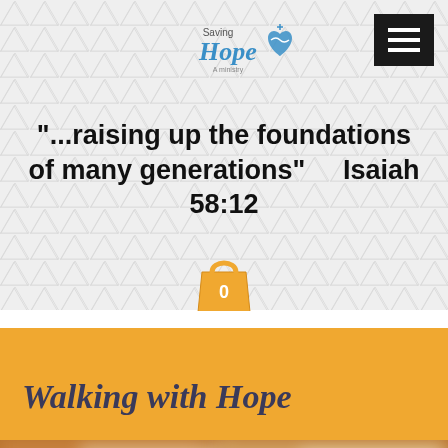[Figure (logo): Saving Hope logo with blue heart and water design, text reads 'Saving Hope']
[Figure (other): Hamburger menu icon (three white lines on black background) in top right corner]
“...raising up the foundations of many generations”     Isaiah 58:12
[Figure (other): Orange shopping bag icon with number 0]
Walking with Hope
[Figure (photo): Blurred photo of what appears to be documents or papers on a wooden surface]